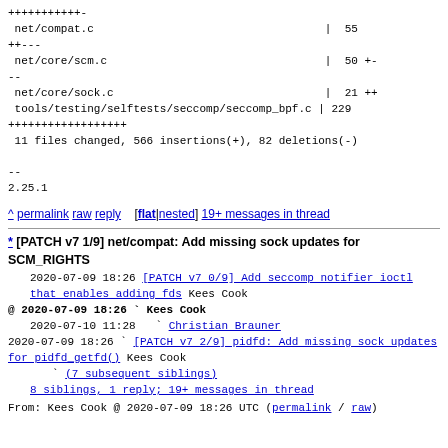+++++++++++-
 net/compat.c                                        |  55
++---
 net/core/scm.c                                      |  50 +-
--
 net/core/sock.c                                     |  21 ++
 tools/testing/selftests/seccomp/seccomp_bpf.c | 229
++++++++++++++++++
 11 files changed, 566 insertions(+), 82 deletions(-)

--
2.25.1
^ permalink raw reply    [flat|nested] 19+ messages in thread
* [PATCH v7 1/9] net/compat: Add missing sock updates for SCM_RIGHTS
  2020-07-09 18:26 [PATCH v7 0/9] Add seccomp notifier ioctl that enables adding fds Kees Cook
@ 2020-07-09 18:26 ` Kees Cook
  2020-07-10 11:28   ` Christian Brauner
  2020-07-09 18:26 ` [PATCH v7 2/9] pidfd: Add missing sock updates for pidfd_getfd() Kees Cook
               ` (7 subsequent siblings)
  8 siblings, 1 reply; 19+ messages in thread
From: Kees Cook @ 2020-07-09 18:26 UTC (permalink / raw)